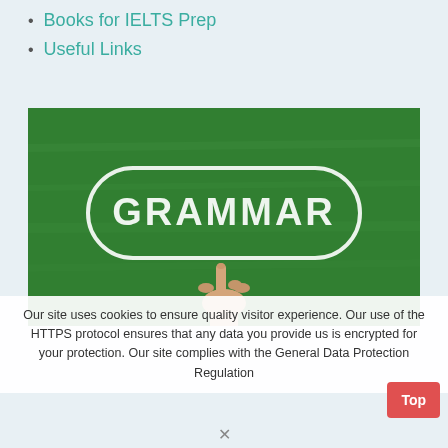Books for IELTS Prep
Useful Links
[Figure (photo): A green chalkboard with the word GRAMMAR written in white chalk inside an oval/pill shape, with a hand pointing at it from below.]
Our site uses cookies to ensure quality visitor experience. Our use of the HTTPS protocol ensures that any data you provide us is encrypted for your protection. Our site complies with the General Data Protection Regulation